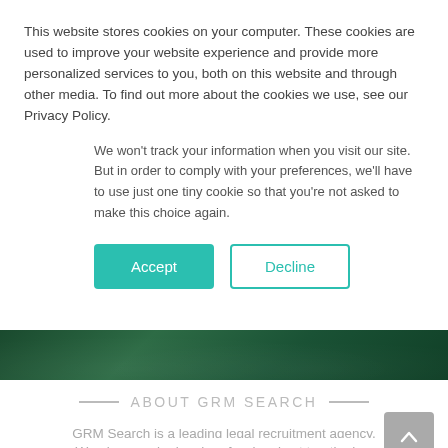This website stores cookies on your computer. These cookies are used to improve your website experience and provide more personalized services to you, both on this website and through other media. To find out more about the cookies we use, see our Privacy Policy.
We won't track your information when you visit our site. But in order to comply with your preferences, we'll have to use just one tiny cookie so that you're not asked to make this choice again.
Accept
Decline
[Figure (other): Dark green decorative banner with subtle texture and light overlay effects]
ABOUT GRM SEARCH
GRM Search is a leading legal recruitment agency.
We place senior legal professionals at top-tier law